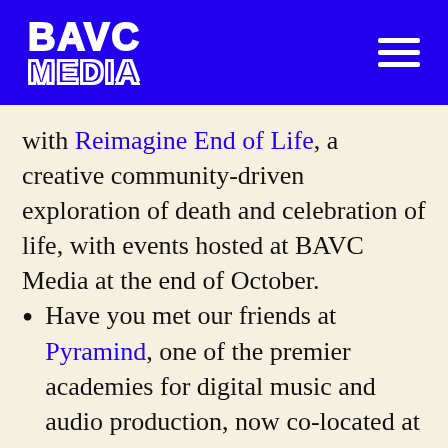[Figure (logo): BAVC Media logo in white on blue background, with hamburger menu icon top right]
with Reimagine End of Life, a creative community-driven exploration of death and celebration of life, with events hosted at BAVC Media at the end of October.
Have you met our friends at Pyramind, one of the premier academies for digital music and audio production, now co-located at BAVC Media?
On your next visit to BAVC Media stop and take a look at the work